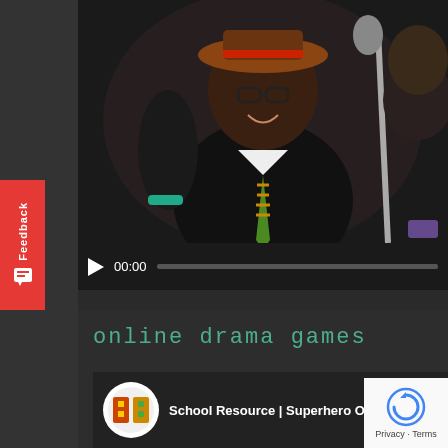[Figure (photo): Screenshot of a web page showing a video player with a performer on stage wearing a hat, glasses, and striped tie, with video controls showing 00:00 timestamp. Below is a section titled 'online drama games' with a YouTube embed preview showing 'School Resource | Superhero On...' channel. A red Feedback tab is visible on the left side. A reCAPTCHA badge appears in the bottom right.]